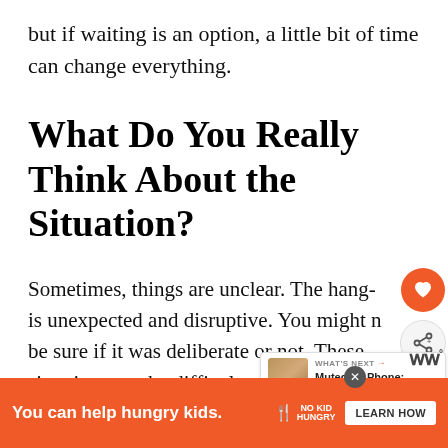but if waiting is an option, a little bit of time can change everything.
What Do You Really Think About the Situation?
Sometimes, things are unclear. The hang- is unexpected and disruptive. You might n be sure if it was deliberate or not. These situations can be difficult to read, especially with over-the-phone communication that tak
[Figure (screenshot): Orange social share heart button and share icon button on right side]
[Figure (screenshot): What's Next widget showing Muted on Phone: How... article preview]
[Figure (screenshot): Orange advertisement banner: You can help hungry kids. No Kid Hungry. Learn How button. Close X button visible.]